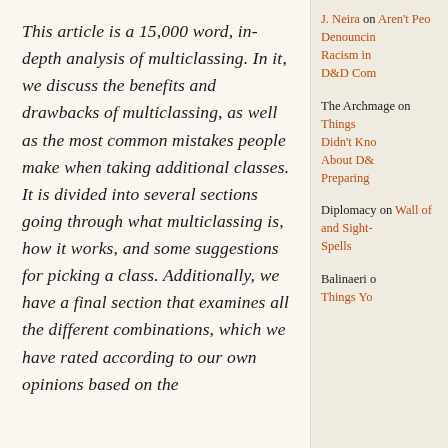This article is a 15,000 word, in-depth analysis of multiclassing. In it, we discuss the benefits and drawbacks of multiclassing, as well as the most common mistakes people make when taking additional classes. It is divided into several sections going through what multiclassing is, how it works, and some suggestions for picking a class. Additionally, we have a final section that examines all the different combinations, which we have rated according to our own opinions based on the
J. Neira on Aren't People Denouncing Racism in D&D Com
The Archmage on Things Didn't Know About D& Preparing
Diplomacy on Wall of and Sight- Spells
Balinaeri o Things Yo